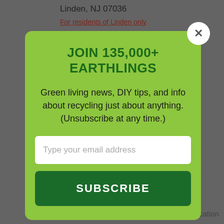Linden, NJ 07036
For residents of Linden only
[Figure (screenshot): Newsletter subscription modal popup with green background. Contains title 'JOIN 135,000+ EARTHLINGS', descriptive text about green living news, an email input field, and a SUBSCRIBE button. Close button (X) in top right corner.]
West Orange Environmental Center
973-325-4125
590 Mount Pleasant Avenue
West Orange, NJ 07052
15.3 mi. Municipal Location